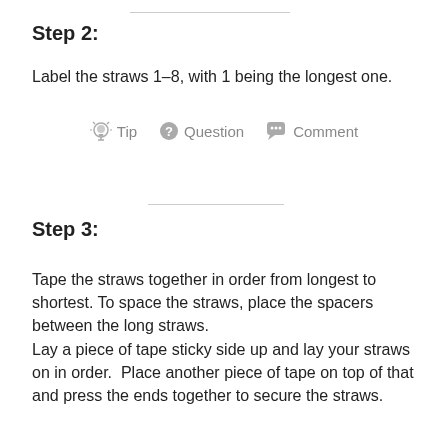Step 2:
Label the straws 1–8, with 1 being the longest one.
[Figure (infographic): Icon bar showing: lightbulb icon with 'Tip', question mark circle icon with 'Question', speech bubble icon with 'Comment']
Step 3:
Tape the straws together in order from longest to shortest. To space the straws, place the spacers between the long straws.
Lay a piece of tape sticky side up and lay your straws on in order.  Place another piece of tape on top of that and press the ends together to secure the straws.